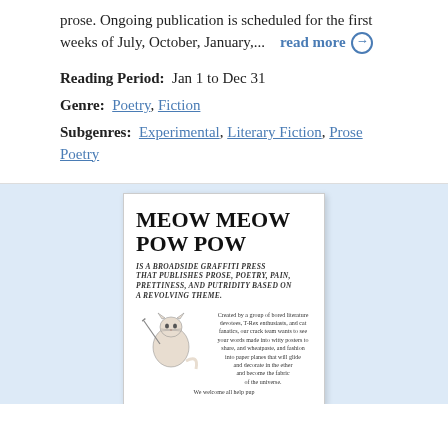prose. Ongoing publication is scheduled for the first weeks of July, October, January,...   read more →
Reading Period:  Jan 1 to Dec 31
Genre:  Poetry, Fiction
Subgenres:  Experimental, Literary Fiction, Prose Poetry
[Figure (illustration): Book cover for 'MEOW MEOW POW POW', described as a broadside graffiti press that publishes prose, poetry, pain, prettiness, and putridity based on a revolving theme, with an illustration of a cat holding a sword.]